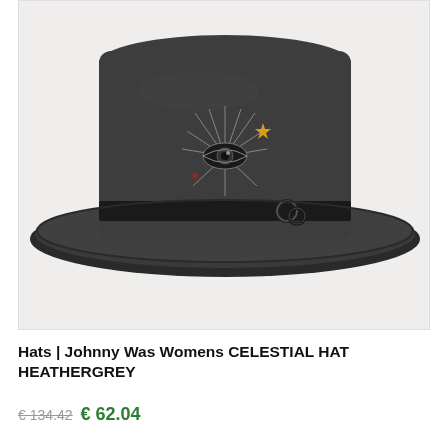[Figure (photo): A dark heather grey wide-brim felt hat (cowboy/fedora style) with celestial embroidery featuring an eye, radiating lines, a gold star, and a small red star, with decorative black rings/charms on the hatband. Photographed on a light grey background.]
Hats | Johnny Was Womens CELESTIAL HAT HEATHERGREY
€ 134.42  € 62.04